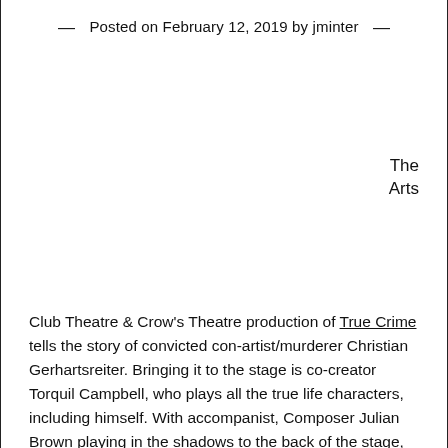— Posted on February 12, 2019 by jminter —
The
Arts
Club Theatre & Crow's Theatre production of True Crime tells the story of convicted con-artist/murderer Christian Gerhartsreiter. Bringing it to the stage is co-creator Torquil Campbell, who plays all the true life characters, including himself. With accompanist, Composer Julian Brown playing in the shadows to the back of the stage, True Crime is essentially a one-man show. The only interactions between the two is during a handful of songs, highlighting Torquil Campbell's other career as